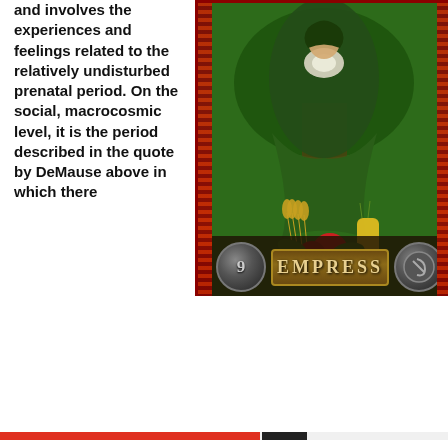and involves the experiences and feelings related to the relatively undisturbed prenatal period. On the social, macrocosmic level, it is the period described in the quote by DeMause above in which there
[Figure (illustration): Tarot card illustration labeled 'EMPRESS' with number 9. Shows a green-robed figure holding something glowing, surrounded by lush vegetation, wheat, corn, and fruits at the bottom. Ornate card border with red patterned sides.]
Privacy & Cookies: This site uses cookies. By continuing to use this website, you agree to their use.
To find out more, including how to control cookies, see here: Cookie Policy
Close and accept